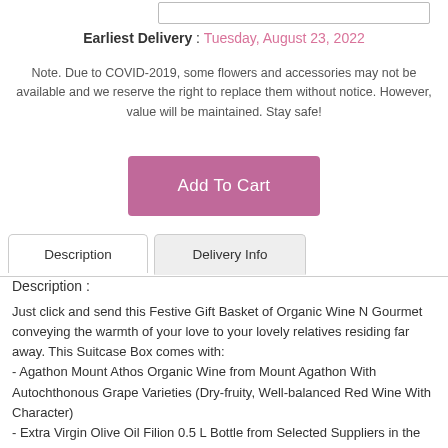Earliest Delivery : Tuesday, August 23, 2022
Note. Due to COVID-2019, some flowers and accessories may not be available and we reserve the right to replace them without notice. However, value will be maintained. Stay safe!
Add To Cart
Description
Delivery Info
Description :
Just click and send this Festive Gift Basket of Organic Wine N Gourmet conveying the warmth of your love to your lovely relatives residing far away. This Suitcase Box comes with:
- Agathon Mount Athos Organic Wine from Mount Agathon With Autochthonous Grape Varieties (Dry-fruity, Well-balanced Red Wine With Character)
- Extra Virgin Olive Oil Filion 0.5 L Bottle from Selected Suppliers in the Peloponnese